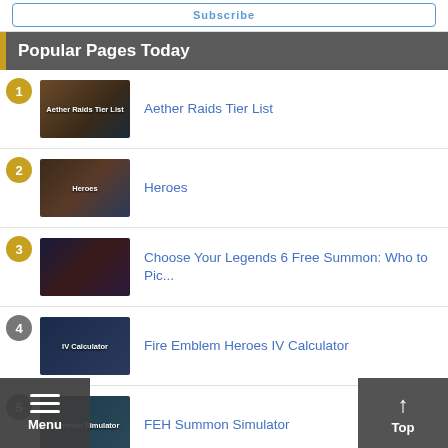Popular Pages Today
Aether Raids Tier List
Heroes
Choose Your Legends 6 Free Summon: Who to Pic...
Fire Emblem Heroes IV Calculator
FEH Summon Simulator